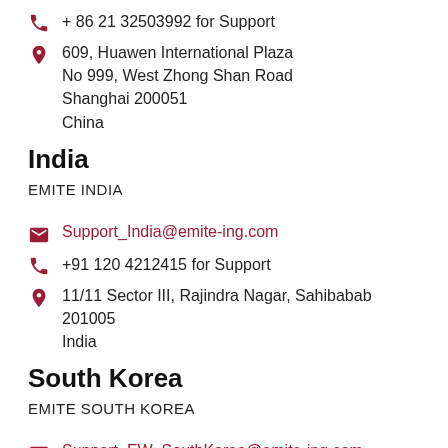+ 86 21 32503992 for Support
609, Huawen International Plaza
No 999, West Zhong Shan Road
Shanghai 200051
China
India
EMITE INDIA
Support_India@emite-ing.com
+91 120 4212415 for Support
11/11 Sector III, Rajindra Nagar, Sahibabab 201005
India
South Korea
EMITE SOUTH KOREA
Support_EW_SouthKorea@emite-ing.com